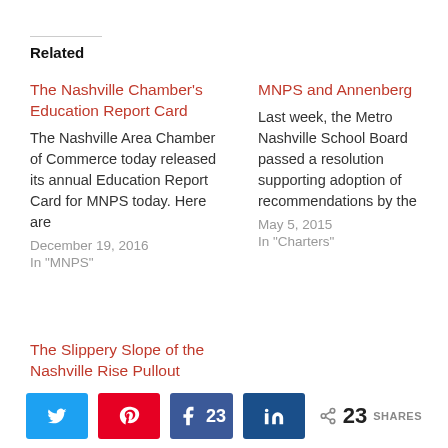Related
The Nashville Chamber's Education Report Card
The Nashville Area Chamber of Commerce today released its annual Education Report Card for MNPS today. Here are
December 19, 2016
In "MNPS"
MNPS and Annenberg
Last week, the Metro Nashville School Board passed a resolution supporting adoption of recommendations by the
May 5, 2015
In "Charters"
The Slippery Slope of the Nashville Rise Pullout
This morning, School Board Member Amy Frogge released a statement about Project Renaissance/Nashville
23 SHARES